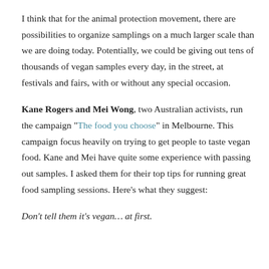I think that for the animal protection movement, there are possibilities to organize samplings on a much larger scale than we are doing today. Potentially, we could be giving out tens of thousands of vegan samples every day, in the street, at festivals and fairs, with or without any special occasion.
Kane Rogers and Mei Wong, two Australian activists, run the campaign "The food you choose" in Melbourne. This campaign focus heavily on trying to get people to taste vegan food. Kane and Mei have quite some experience with passing out samples. I asked them for their top tips for running great food sampling sessions. Here's what they suggest:
Don't tell them it's vegan… at first.